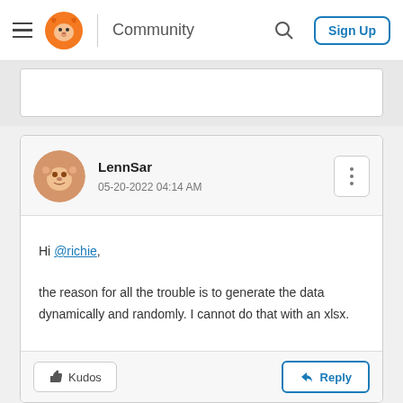Community — Sign Up
LennSar
05-20-2022 04:14 AM
Hi @richie,

the reason for all the trouble is to generate the data dynamically and randomly. I cannot do that with an xlsx.